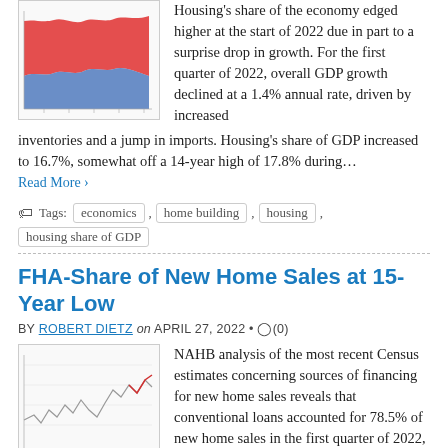[Figure (other): Thumbnail image of a chart showing housing share of GDP with red and blue area chart]
Housing's share of the economy edged higher at the start of 2022 due in part to a surprise drop in growth. For the first quarter of 2022, overall GDP growth declined at a 1.4% annual rate, driven by increased inventories and a jump in imports. Housing's share of GDP increased to 16.7%, somewhat off a 14-year high of 17.8% during…
Read More ›
Tags: economics , home building , housing , housing share of GDP
FHA-Share of New Home Sales at 15-Year Low
BY ROBERT DIETZ on APRIL 27, 2022 • (0)
[Figure (other): Thumbnail image of a line chart showing FHA share of new home sales over time]
NAHB analysis of the most recent Census estimates concerning sources of financing for new home sales reveals that conventional loans accounted for 78.5% of new home sales in the first quarter of 2022, the highest share in more than a decade. Conventional loans financed over three-quarters of new home sales in the second quarter of 2008 before steadily falling and bottoming out at 57.3%…
Read More ›